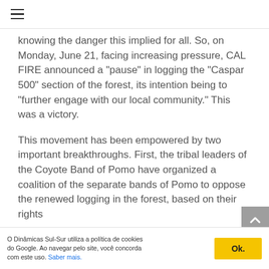☰
knowing the danger this implied for all. So, on Monday, June 21, facing increasing pressure, CAL FIRE announced a "pause" in logging the "Caspar 500" section of the forest, its intention being to "further engage with our local community." This was a victory.
This movement has been empowered by two important breakthroughs. First, the tribal leaders of the Coyote Band of Pomo have organized a coalition of the separate bands of Pomo to oppose the renewed logging in the forest, based on their rights
O Dinâmicas Sul-Sur utiliza a política de cookies do Google. Ao navegar pelo site, você concorda com este uso. Saber mais.